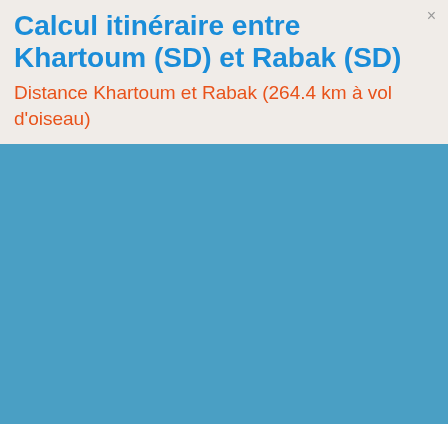Calcul itinéraire entre Khartoum (SD) et Rabak (SD)
Distance Khartoum et Rabak (264.4 km à vol d'oiseau)
[Figure (map): Blue map area showing the region between Khartoum (SD) and Rabak (SD) in Sudan]